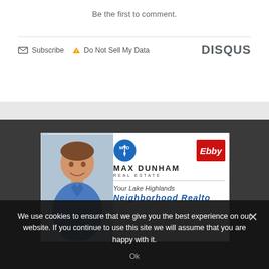Be the first to comment.
Subscribe  Do Not Sell My Data    DISQUS
[Figure (infographic): Max Dunham Real Estate advertisement card with photo of man in blue shirt, MD circle logo, Ebby Halliday logo, and text 'Your Lake Highlands Neighborhood Realtor']
We use cookies to ensure that we give you the best experience on our website. If you continue to use this site we will assume that you are happy with it.
Ok